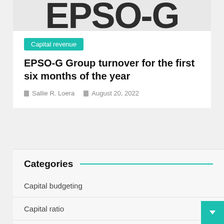[Figure (logo): EPSO-G logo with dark letters and green G]
Capital revenue
EPSO-G Group turnover for the first six months of the year
Sallie R. Loera   August 20, 2022
Categories
Capital budgeting
Capital ratio
Capital